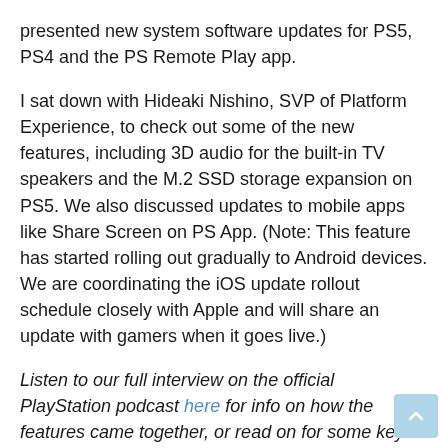presented new system software updates for PS5, PS4 and the PS Remote Play app.
I sat down with Hideaki Nishino, SVP of Platform Experience, to check out some of the new features, including 3D audio for the built-in TV speakers and the M.2 SSD storage expansion on PS5. We also discussed updates to mobile apps like Share Screen on PS App. (Note: This feature has started rolling out gradually to Android devices. We are coordinating the iOS update rollout schedule closely with Apple and will share an update with gamers when it goes live.)
Listen to our full interview on the official PlayStation podcast here for info on how the features came together, or read on for some key snippets, edited for brevity and clarity.
PlayStation.Blog: Can you give us a little idea of â€‹â€‹what you do as the SVP of Platform Experience?
Nishino-san: At SIE, I work for hardware, system software, and